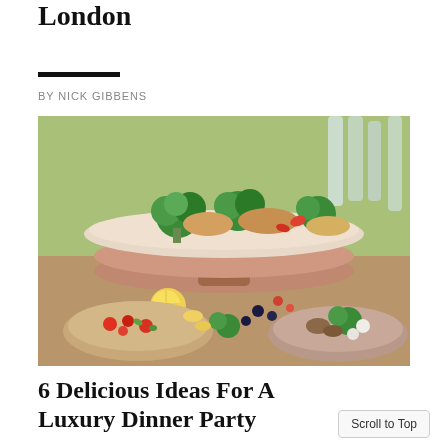London
BY NICK GIBBENS
[Figure (photo): A lavish food spread showing multiple plates and tiered platters with garnished dishes including broccoli, meats, vegetables, olives, and colorful salads — a luxury dinner party buffet style presentation.]
6 Delicious Ideas For A Luxury Dinner Party
Scroll to Top